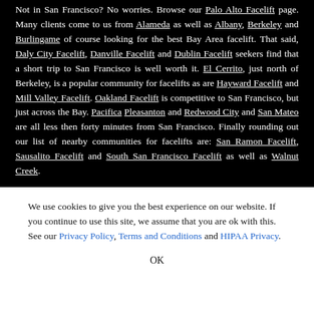Not in San Francisco? No worries. Browse our Palo Alto Facelift page. Many clients come to us from Alameda as well as Albany, Berkeley and Burlingame of course looking for the best Bay Area facelift. That said, Daly City Facelift, Danville Facelift and Dublin Facelift seekers find that a short trip to San Francisco is well worth it. El Cerrito, just north of Berkeley, is a popular community for facelifts as are Hayward Facelift and Mill Valley Facelift. Oakland Facelift is competitive to San Francisco, but just across the Bay. Pacifica Pleasanton and Redwood City and San Mateo are all less then forty minutes from San Francisco. Finally rounding out our list of nearby communities for facelifts are: San Ramon Facelift, Sausalito Facelift and South San Francisco Facelift as well as Walnut Creek.
We use cookies to give you the best experience on our website. If you continue to use this site, we assume that you are ok with this. See our Privacy Policy, Terms and Conditions and HIPAA Privacy.
OK